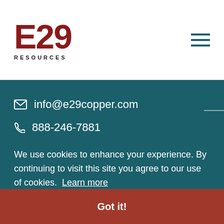[Figure (logo): E29 Resources logo with large red E29 text and RESOURCES in small caps below]
[Figure (other): Hamburger menu icon with three horizontal teal lines]
info@e29copper.com
888-246-7881
We use cookies to enhance your experience. By continuing to visit this site you agree to our use of cookies. Learn more
Got it!